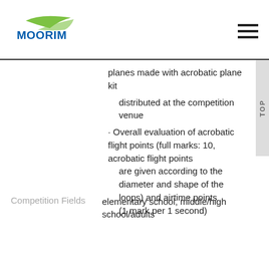[Figure (logo): Moorim logo with green swoosh and blue text]
planes made with acrobatic plane kit
distributed at the competition venue
· Overall evaluation of acrobatic flight points (full marks: 10, acrobatic flight points are given according to the diameter and shape of the loops) and airtime points (1 mark per 1 second)
Competition Fields   elementary school, middle/high school/adults